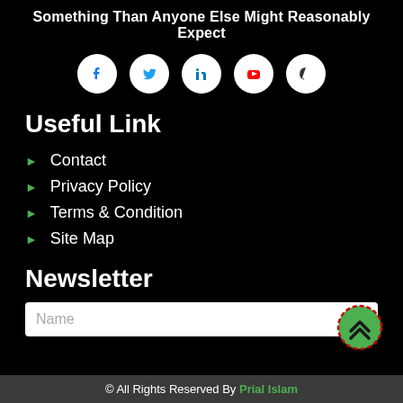Something Than Anyone Else Might Reasonably Expect
[Figure (illustration): Row of 5 social media icons (Facebook, Twitter, LinkedIn, YouTube, GitHub) in white circles on black background]
Useful Link
Contact
Privacy Policy
Terms & Condition
Site Map
Newsletter
Name
[Figure (illustration): Green circle button with double up chevron arrows, red dashed border]
© All Rights Reserved By Prial Islam